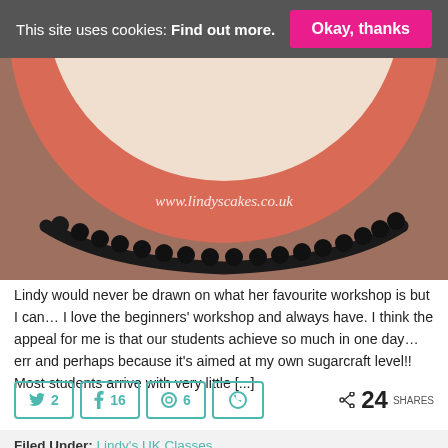This site uses cookies: Find out more.  Okay, thanks
[Figure (photo): Top-down view of a round cake on a pink/coral cake board, with dark piping decoration along the base edge. Watermark reads www.lindyscakes.co.uk]
Lindy would never be drawn on what her favourite workshop is but I can… I love the beginners' workshop and always have. I think the appeal for me is that our students achieve so much in one day… err and perhaps because it's aimed at my own sugarcraft level!! Most students arrive with very little [...]
2  16  6  < 24 SHARES
Filed Under: Lindy's UK Classes